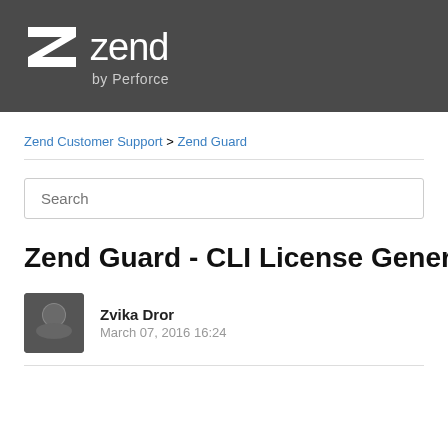[Figure (logo): Zend by Perforce logo — white Z icon and 'zend' wordmark with 'by Perforce' subtitle on dark grey background]
Zend Customer Support > Zend Guard
Search
Zend Guard - CLI License Generati
[Figure (photo): Headshot photo of Zvika Dror]
Zvika Dror
March 07, 2016 16:24